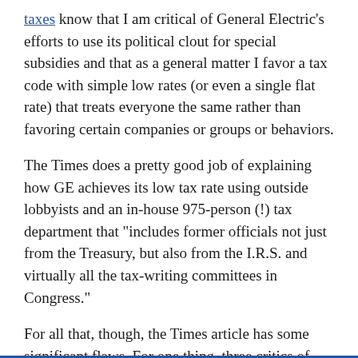taxes know that I am critical of General Electric's efforts to use its political clout for special subsidies and that as a general matter I favor a tax code with simple low rates (or even a single flat rate) that treats everyone the same rather than favoring certain companies or groups or behaviors.
The Times does a pretty good job of explaining how GE achieves its low tax rate using outside lobbyists and an in-house 975-person (!) tax department that "includes former officials not just from the Treasury, but also from the I.R.S. and virtually all the tax-writing committees in Congress."
For all that, though, the Times article has some significant flaws. For one thing, three critics of GE's tax maneuvers quoted in the article — "Len Burman, a former Treasury official who now is a scholar at the nonpartisan Tax Policy Center," "Robert S. McIntyre, director of the liberal group Citizens for Tax Justice," and